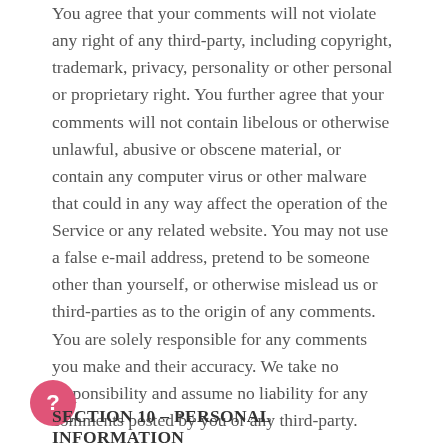You agree that your comments will not violate any right of any third-party, including copyright, trademark, privacy, personality or other personal or proprietary right. You further agree that your comments will not contain libelous or otherwise unlawful, abusive or obscene material, or contain any computer virus or other malware that could in any way affect the operation of the Service or any related website. You may not use a false e-mail address, pretend to be someone other than yourself, or otherwise mislead us or third-parties as to the origin of any comments. You are solely responsible for any comments you make and their accuracy. We take no responsibility and assume no liability for any comments posted by you or any third-party.
SECTION 10 – PERSONAL INFORMATION